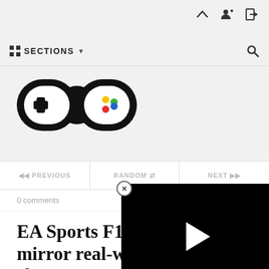SECTIONS ↓
[Figure (logo): GameDynamo logo — stylized game controller icon with G and D letters in bold rounded shapes]
◀◀ PREVIOUS
RANDOM ⇄
NEXT ▶▶
0 comments
[Figure (screenshot): Black video player with white play button triangle in center]
EA Sports F1 22 mirror real-world track changes